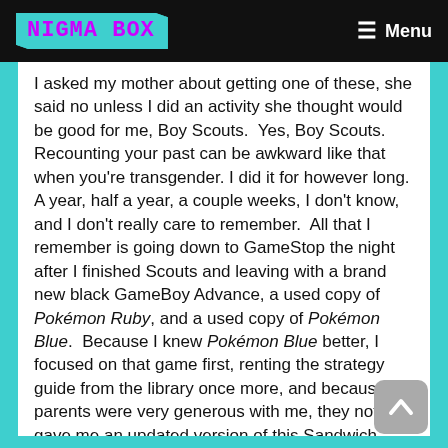NIGMA BOX — Menu
I asked my mother about getting one of these, she said no unless I did an activity she thought would be good for me, Boy Scouts.  Yes, Boy Scouts. Recounting your past can be awkward like that when you're transgender. I did it for however long. A year, half a year, a couple weeks, I don't know, and I don't really care to remember.  All that I remember is going down to GameStop the night after I finished Scouts and leaving with a brand new black GameBoy Advance, a used copy of Pokémon Ruby, and a used copy of Pokémon Blue.  Because I knew Pokémon Blue better, I focused on that game first, renting the strategy guide from the library once more, and because my parents were very generous with me, they not only gave me an updated version of this Sandwich Islands strategy guide, but they also gave me a Bradygames guide for Pokémon Ruby and Sapphire.